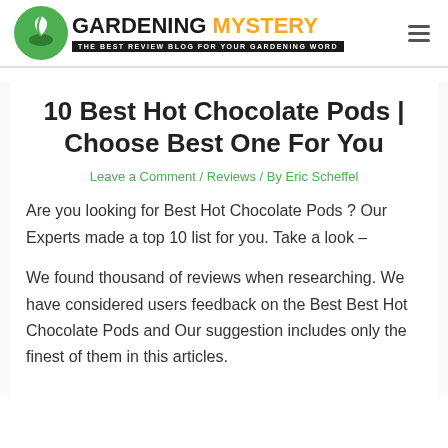GARDENING MYSTERY — THE BEST REVIEW BLOG FOR YOUR GARDENING WORD
10 Best Hot Chocolate Pods | Choose Best One For You
Leave a Comment / Reviews / By Eric Scheffel
Are you looking for Best Hot Chocolate Pods ? Our Experts made a top 10 list for you. Take a look –
We found thousand of reviews when researching. We have considered users feedback on the Best Best Hot Chocolate Pods and Our suggestion includes only the finest of them in this articles.